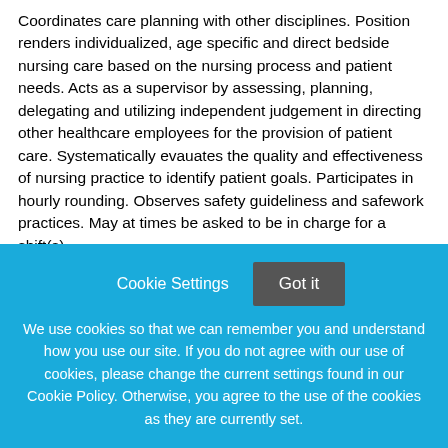Coordinates care planning with other disciplines. Position renders individualized, age specific and direct bedside nursing care based on the nursing process and patient needs. Acts as a supervisor by assessing, planning, delegating and utilizing independent judgement in directing other healthcare employees for the provision of patient care. Systematically evauates the quality and effectiveness of nursing practice to identify patient goals. Participates in hourly rounding. Observes safety guideliness and safework practices. May at times be asked to be in charge for a shift(s).
Special Skills: Effective interpersonal skills and ability to work with team members required. Must be able to work in a
[Figure (screenshot): Cookie consent overlay with blue background, containing 'Cookie Settings' and 'Got it' buttons, and cookie policy text.]